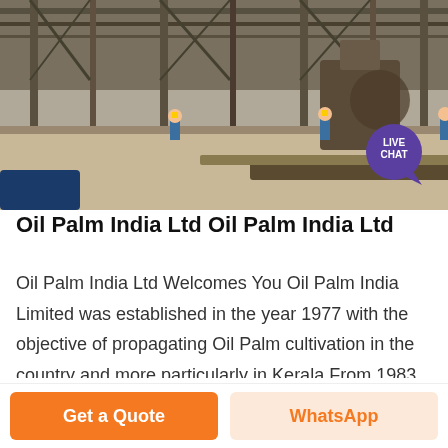[Figure (photo): Industrial factory/mill exterior with steel structure scaffolding, workers in blue uniforms on the floor, heavy machinery visible. A 'LIVE CHAT' speech bubble badge is overlaid in the top-right corner of the image.]
Oil Palm India Ltd Oil Palm India Ltd
Oil Palm India Ltd Welcomes You Oil Palm India Limited was established in the year 1977 with the objective of propagating Oil Palm cultivation in the country and more particularly in Kerala From 1983 onwards the Company started functioning as a joint venture of the Government of Kerala and
Get a Quote
WhatsApp